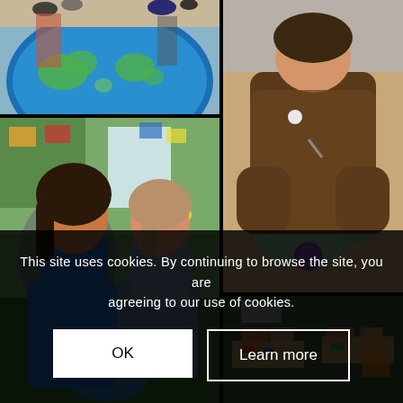[Figure (photo): Children sitting on a colorful world map rug in a classroom, seen from above]
[Figure (photo): Child in brown fluffy jacket doing a craft activity at a table with green paper shapes and a purple pom-pom]
[Figure (photo): Two young girls playing with small animals and sensory materials in a classroom setting, one in blue dress]
[Figure (photo): Classroom scene with children sitting at tables, seen from a distance]
This site uses cookies. By continuing to browse the site, you are agreeing to our use of cookies.
OK
Learn more